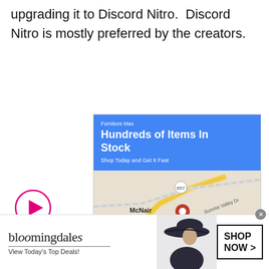upgrading it to Discord Nitro.  Discord Nitro is mostly preferred by the creators.
[Figure (screenshot): Google Maps advertisement for Furniture Max showing blue header with 'Hundreds of Items In Stock' and 'Shop Today and Get It Fast', a map view showing McNair area with route 657 and Sunrise Valley Dr, and buttons for Store info and Directions]
[Figure (screenshot): Bloomingdale's banner advertisement showing logo, 'View Today's Top Deals!' tagline, a woman in a hat, and a 'SHOP NOW >' button]